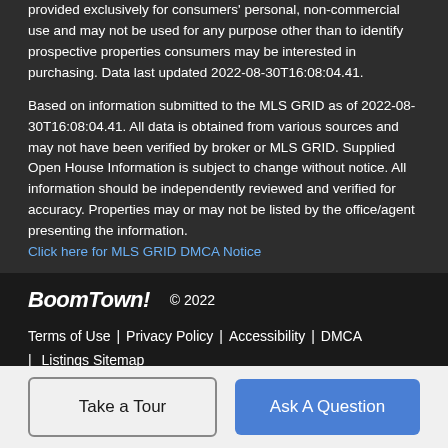provided exclusively for consumers' personal, non-commercial use and may not be used for any purpose other than to identify prospective properties consumers may be interested in purchasing. Data last updated 2022-08-30T16:08:04.41.
Based on information submitted to the MLS GRID as of 2022-08-30T16:08:04.41. All data is obtained from various sources and may not have been verified by broker or MLS GRID. Supplied Open House Information is subject to change without notice. All information should be independently reviewed and verified for accuracy. Properties may or may not be listed by the office/agent presenting the information.
Click here for MLS GRID DMCA Notice
BoomTown! © 2022
Terms of Use | Privacy Policy | Accessibility | DMCA | Listings Sitemap
Take a Tour
Ask A Question